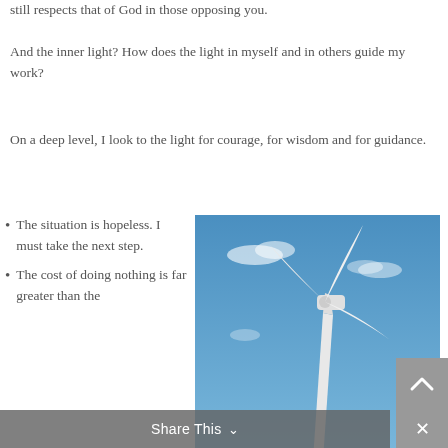still respects that of God in those opposing you.
And the inner light? How does the light in myself and in others guide my work?
On a deep level, I look to the light for courage, for wisdom and for guidance.
The situation is hopeless. I must take the next step.
The cost of doing nothing is far greater than the
[Figure (photo): A white wind turbine against a blue sky with a few clouds]
Share This ∨
[Figure (other): Scroll up button (grey arrow pointing up)]
×